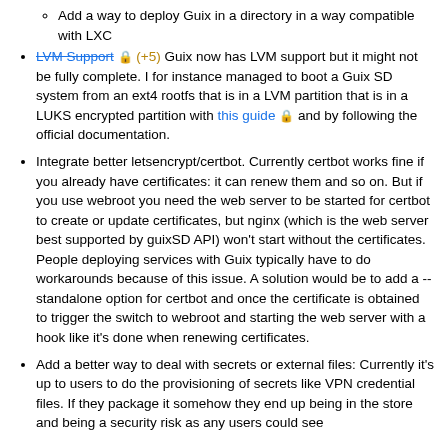Add a way to deploy Guix in a directory in a way compatible with LXC
LVM Support 🔒(+5) Guix now has LVM support but it might not be fully complete. I for instance managed to boot a Guix SD system from an ext4 rootfs that is in a LVM partition that is in a LUKS encrypted partition with this guide 🔒 and by following the official documentation.
Integrate better letsencrypt/certbot. Currently certbot works fine if you already have certificates: it can renew them and so on. But if you use webroot you need the web server to be started for certbot to create or update certificates, but nginx (which is the web server best supported by guixSD API) won't start without the certificates. People deploying services with Guix typically have to do workarounds because of this issue. A solution would be to add a --standalone option for certbot and once the certificate is obtained to trigger the switch to webroot and starting the web server with a hook like it's done when renewing certificates.
Add a better way to deal with secrets or external files: Currently it's up to users to do the provisioning of secrets like VPN credential files. If they package it somehow they end up being in the store and being a security risk as any users could see